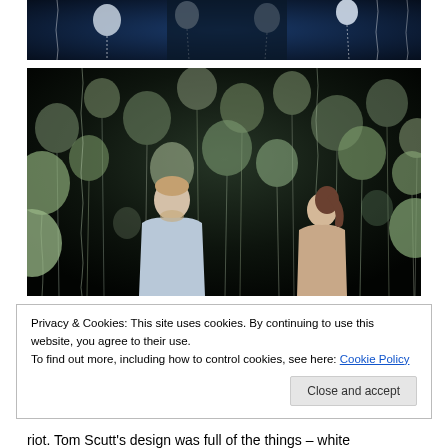[Figure (photo): Top portion of a theatrical stage photo showing glowing white balloons against a dark blue background with wiggly strings hanging down]
[Figure (photo): Main theatrical stage photo showing two performers — a man in a light blue shirt and a woman in a tan/beige top — standing amid dozens of large white/pale green balloons hanging from above on curly strings, against a dark black background]
Privacy & Cookies: This site uses cookies. By continuing to use this website, you agree to their use.
To find out more, including how to control cookies, see here: Cookie Policy
Close and accept
riot. Tom Scutt's design was full of the things – white